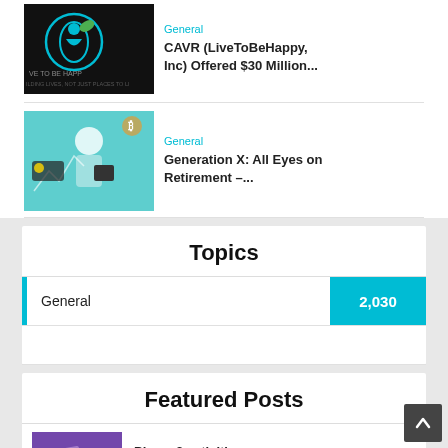[Figure (illustration): LiveToBeHappy company logo on dark background with circular design and green leaf element. Text reads 'VE TO BE HAPP' and 'ILDING LIVES, NOT JUST PLACES TO LI']
General
CAVR (LiveToBeHappy, Inc) Offered $30 Million...
[Figure (illustration): Illustration of a woman holding a tablet, with cryptocurrency and stock market chart elements in teal/green tones]
General
Generation X: All Eyes on Retirement –...
Topics
General
2,030
Featured Posts
[Figure (photo): Purple-toned photo of hands working with papers/documents]
Phase 2 activities continue in